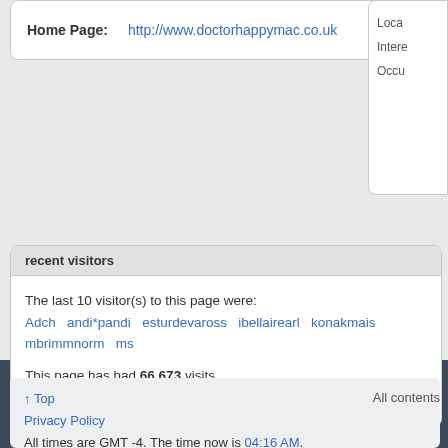Home Page: http://www.doctorhappymac.co.uk
Loca
Intere
Occu
recent visitors
The last 10 visitor(s) to this page were:
Adch andi*pandi esturdevaross ibellairearl konakmais mbrimmnorm ms
This page has had 66,673 visits
↑ Top
Privacy Policy
All times are GMT -4. The time now is 04:16 AM.
All contents